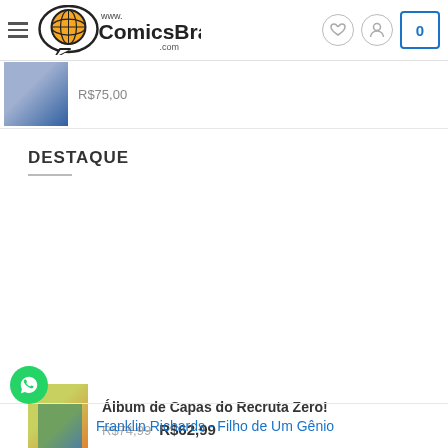www.ComicsBrasil.com
R$75,00
DESTAQUE
Álbum de Capas do Recruta Zero!
R$74,99  R$62,99
Vasco Granja
R$70,00
Krazy Kat Kompletamente a Kores
R$250,00
Franklin Richards - Filho de Um Gênio